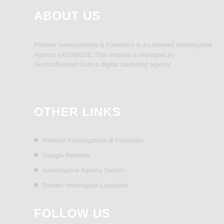ABOUT US
Premier Investigations & Forensics is a Licensed Investigatvie Agency #A1500226. This website is managed by GetYouRanked.Com a digital marketing agency
OTHER LINKS
Premier Investigations & Forensics
Google Reviews
Investigative Agency Search
Private Investigator Locations
FOLLOW US